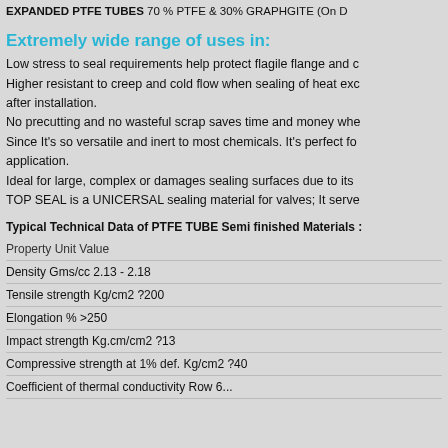EXPANDED PTFE TUBES 70 % PTFE & 30% GRAPHGITE (On D...
Extremely wide range of uses in:
Low stress to seal requirements help protect flagile flange and c...
Higher resistant to creep and cold flow when sealing of heat exc... after installation.
No precutting and no wasteful scrap saves time and money whe...
Since It's so versatile and inert to most chemicals. It's perfect fo... application.
Ideal for large, complex or damages sealing surfaces due to its...
TOP SEAL is a UNICERSAL sealing material for valves; It serve...
Typical Technical Data of PTFE TUBE Semi finished Materials :
| Property | Unit | Value |
| --- | --- | --- |
| Density | Gms/cc | 2.13 - 2.18 |
| Tensile strength | Kg/cm2 | ?200 |
| Elongation | % | >250 |
| Impact strength | Kg.cm/cm2 | ?13 |
| Compressive strength at 1% def. | Kg/cm2 | ?40 |
| Coefficient of thermal conductivity | Row 6... | ... |